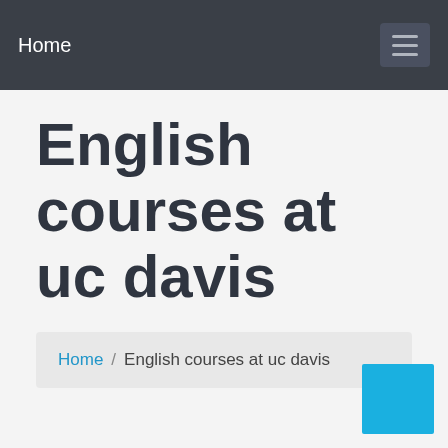Home
English courses at uc davis
Home / English courses at uc davis